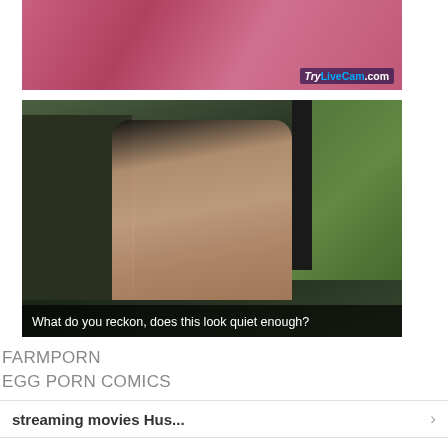[Figure (photo): Top video thumbnail showing adult content with TryLiveCam.com watermark]
[Figure (photo): Video thumbnail of person inside taxi cab with subtitle: What do you reckon, does this look quiet enough?]
FARMPORN
EGG PORN COMICS
streaming movies Hus...
hq films Gianna at hell...